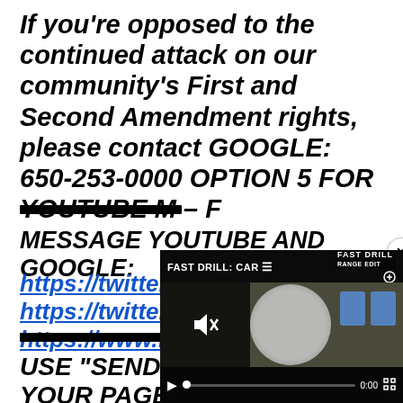If you're opposed to the continued attack on our community's First and Second Amendment rights, please contact GOOGLE: 650-253-0000 OPTION 5 FOR YOUTUBE M – F
MESSAGE YOUTUBE AND GOOGLE:
https://twitter.com/YouTube
https://twitter.com/rkyncl?lang=en
https://www.facebook...
USE "SEND FEEDBAC...
YOUR PAGE /...
[Figure (screenshot): Embedded video player overlay showing 'FAST DRILL: CAR...' with playback controls, mute button, progress bar showing 0:00, and a close (x) button. The video thumbnail shows a shooting target circle and blue target silhouettes against a dirt outdoor background.]